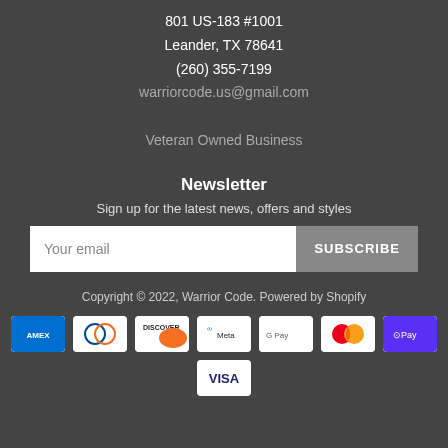801 US-183 #1001
Leander, TX 78641
(260) 355-7199
warriorcode.us@gmail.com
Veteran Owned Business
Newsletter
Sign up for the latest news, offers and styles
Your email | SUBSCRIBE
Copyright © 2022, Warrior Code. Powered by Shopify
[Figure (other): Payment method icons: American Express, Diners Club, Discover, Meta Pay, Google Pay, Mastercard, Shop Pay, Visa]